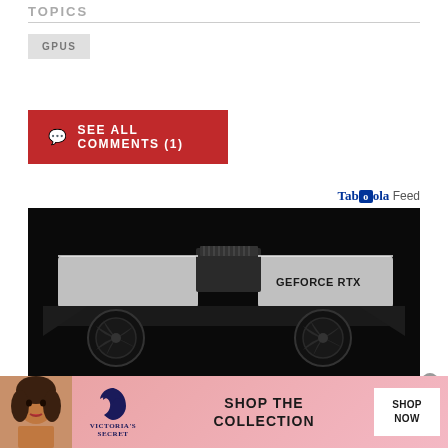TOPICS
GPUS
SEE ALL COMMENTS (1)
Taboola Feed
[Figure (photo): NVIDIA GeForce RTX graphics card rendered on black background, showing silver/black shroud with three fans and power connector]
[Figure (photo): Victoria's Secret advertisement banner: model with curly hair on pink background, VS logo, text SHOP THE COLLECTION, SHOP NOW button]